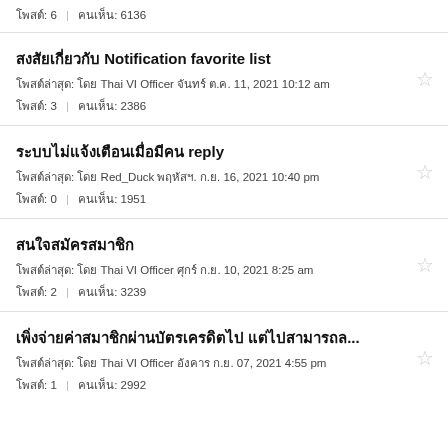โพสต์: 6  คนเห็น: 6136
สงสัยเกี่ยวกับ Notification favorite list
โพสต์ล่าสุด: โดย Thai VI Officer จันทร์ ต.ค. 11, 2021 10:12 am
โพสต์: 3  คนเห็น: 2386
ระบบไม่แจ้งเตือนเมื่อมีคน reply
โพสต์ล่าสุด: โดย Red_Duck พฤหัสฯ. ก.ย. 16, 2021 10:40 pm
โพสต์: 0  คนเห็น: 1951
สนใจสมัครสมาชิก
โพสต์ล่าสุด: โดย Thai VI Officer ศุกร์ ก.ย. 10, 2021 8:25 am
โพสต์: 2  คนเห็น: 3239
เพิ่งจ่ายค่าสมาชิกผ่านบัตรเครดิตไป แต่ไปสามารถล...
โพสต์ล่าสุด: โดย Thai VI Officer อังคาร ก.ย. 07, 2021 4:55 pm
โพสต์: 1  คนเห็น: 2992